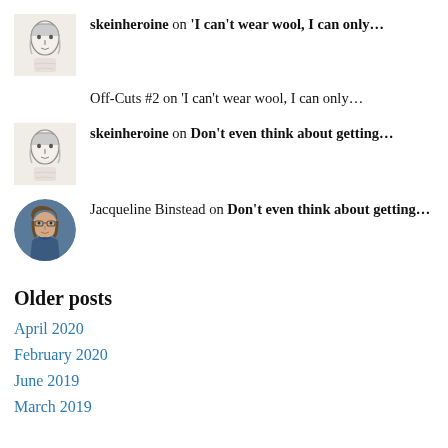skeinheroine on ‘I can’t wear wool, I can only…
Off-Cuts #2 on ‘I can’t wear wool, I can only…
skeinheroine on Don’t even think about getting…
Jacqueline Binstead on Don’t even think about getting…
Older posts
April 2020
February 2020
June 2019
March 2019